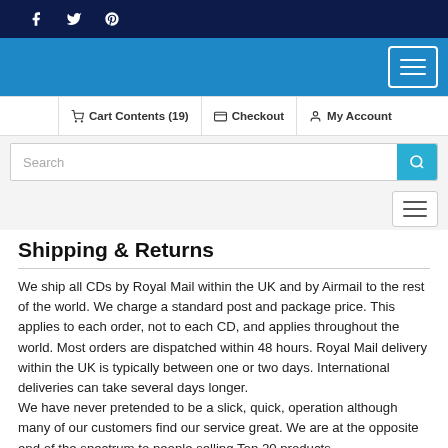Social icons: Facebook, Twitter, Pinterest
Navigation: Cart Contents (19), Checkout, My Account
Search bar
Shipping & Returns
We ship all CDs by Royal Mail within the UK and by Airmail to the rest of the world. We charge a standard post and package price. This applies to each order, not to each CD, and applies throughout the world. Most orders are dispatched within 48 hours. Royal Mail delivery within the UK is typically between one or two days. International deliveries can take several days longer.
We have never pretended to be a slick, quick, operation although many of our customers find our service great. We are at the opposite end of the spectrum to people selling Top 20 products.